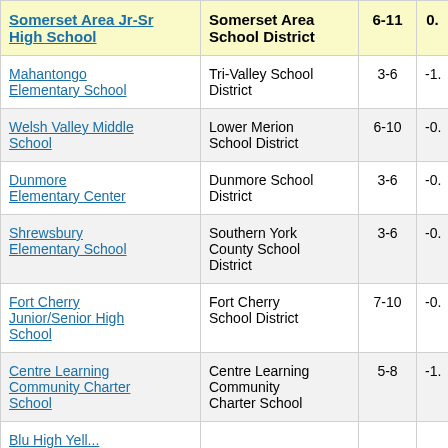| School | District | Grades | Score |
| --- | --- | --- | --- |
| Somerset Area Jr-Sr High School | Somerset Area School District | 6-11 | 0. |
| Mahantongo Elementary School | Tri-Valley School District | 3-6 | -1. |
| Welsh Valley Middle School | Lower Merion School District | 6-10 | -0. |
| Dunmore Elementary Center | Dunmore School District | 3-6 | -0. |
| Shrewsbury Elementary School | Southern York County School District | 3-6 | -0. |
| Fort Cherry Junior/Senior High School | Fort Cherry School District | 7-10 | -0. |
| Centre Learning Community Charter School | Centre Learning Community Charter School | 5-8 | -1. |
| Blue High Yell... |  |  |  |